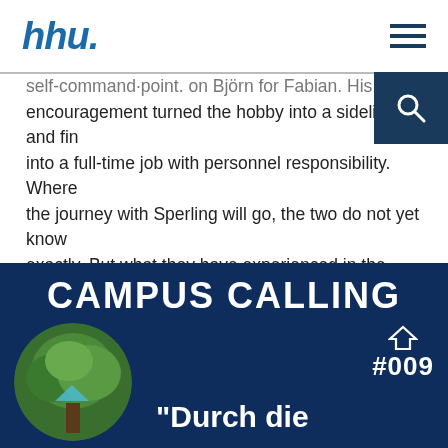hhu.
self-com­mand·point. on Björn for Fabian. His encouragement turned the hobby into a sideline and finally into a full-time job with personnel responsibility. Where the journey with Sperling will go, the two do not yet know exactly. But what they have experienced in the years since the first backpack and learned through the founding of their startup, you will learn in this episode. Stay tuned!
[Figure (infographic): CAMPUS CALLING podcast card with dark blue background, episode #009 badge with house icon, circular tree photo, and partial text 'Durch die']